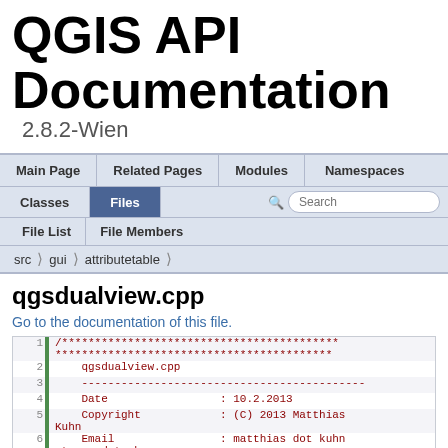QGIS API Documentation 2.8.2-Wien
[Figure (screenshot): Navigation bar with Main Page, Related Pages, Modules, Namespaces tabs]
[Figure (screenshot): Second nav row with Classes, Files tabs and Search box]
[Figure (screenshot): Sub-nav with File List and File Members]
[Figure (screenshot): Breadcrumb: src > gui > attributetable]
qgsdualview.cpp
Go to the documentation of this file.
1  /******************************************
******************************************
2      qgsdualview.cpp
3      -------------------------------------------
4      Date                 : 10.2.2013
5      Copyright            : (C) 2013 Matthias Kuhn
6      Email                : matthias dot kuhn at gmx dot ch
7